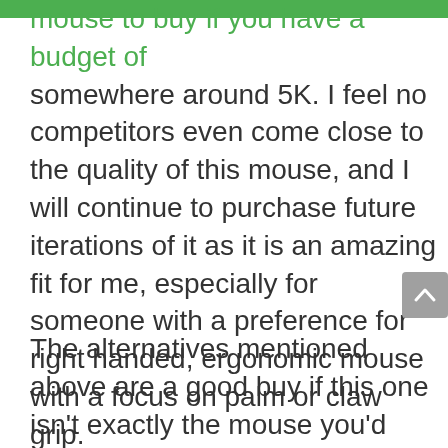mouse to buy if you have a budget of somewhere around 5K. I feel no competitors even come close to the quality of this mouse, and I will continue to purchase future iterations of it as it is an amazing fit for me, especially for someone with a preference for right handed, ergonomic mouse with a focus on palm or claw grip.
The alternatives mentioned above are a good buy if this one isn't exactly the mouse you'd want. Happy gaming!